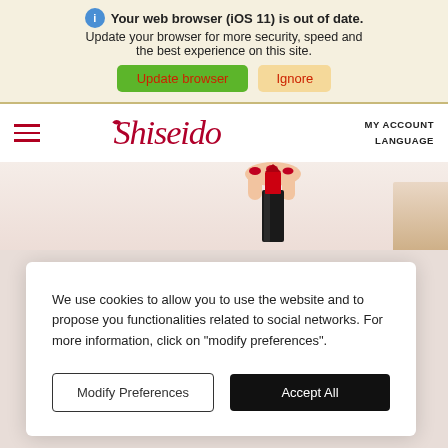Your web browser (iOS 11) is out of date. Update your browser for more security, speed and the best experience on this site.
Update browser
Ignore
[Figure (logo): Shiseido brand logo in red cursive script]
MY ACCOUNT
LANGUAGE
[Figure (photo): Hand holding a red and black Shiseido lipstick product]
We use cookies to allow you to use the website and to propose you functionalities related to social networks. For more information, click on "modify preferences".
Modify Preferences
Accept All